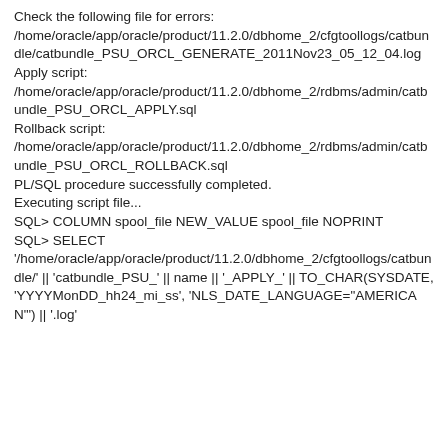Check the following file for errors:
/home/oracle/app/oracle/product/11.2.0/dbhome_2/cfgtoollogs/catbundle/catbundle_PSU_ORCL_GENERATE_2011Nov23_05_12_04.log
Apply script:
/home/oracle/app/oracle/product/11.2.0/dbhome_2/rdbms/admin/catbundle_PSU_ORCL_APPLY.sql
Rollback script:
/home/oracle/app/oracle/product/11.2.0/dbhome_2/rdbms/admin/catbundle_PSU_ORCL_ROLLBACK.sql
PL/SQL procedure successfully completed.
Executing script file...
SQL> COLUMN spool_file NEW_VALUE spool_file NOPRINT
SQL> SELECT
'/home/oracle/app/oracle/product/11.2.0/dbhome_2/cfgtoollogs/catbundle/' || 'catbundle_PSU_' || name || '_APPLY_' || TO_CHAR(SYSDATE, 'YYYYMonDD_hh24_mi_ss', 'NLS_DATE_LANGUAGE="AMERICAN"') || '.log'